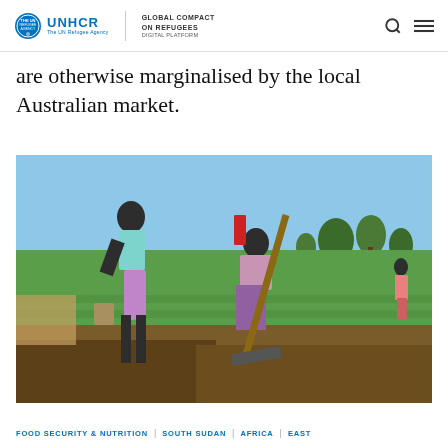UNHCR | GLOBAL COMPACT ON REFUGEES DIGITAL PLATFORM
are otherwise marginalised by the local Australian market.
[Figure (photo): Two women working in an agricultural field, one carrying a bucket and the other using a hoe to till the soil. Green crops and trees visible in the background under a blue sky.]
FOOD SECURITY & NUTRITION | SOUTH SUDAN | AFRICA | EAST